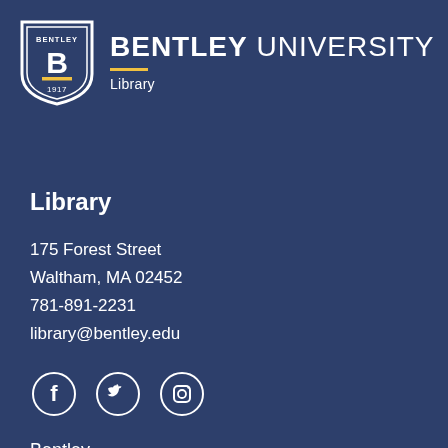[Figure (logo): Bentley University logo with shield and text showing BENTLEY UNIVERSITY and Library subtitle]
Library
175 Forest Street
Waltham, MA 02452
781-891-2231
library@bentley.edu
[Figure (illustration): Social media icons: Facebook, Twitter, Instagram in circles]
Bentley
MyBentley
Blackboard
Suggest a Purchase